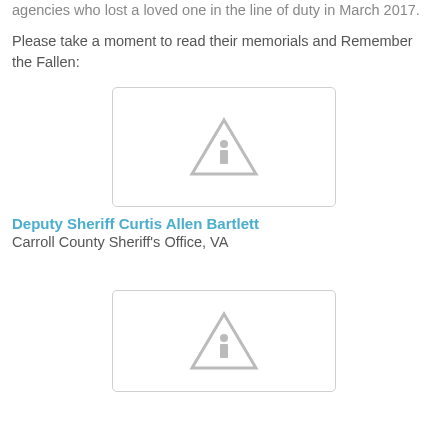agencies who lost a loved one in the line of duty in March 2017.
Please take a moment to read their memorials and Remember the Fallen:
[Figure (photo): Image placeholder with warning triangle icon for Deputy Sheriff Curtis Allen Bartlett]
Deputy Sheriff Curtis Allen Bartlett
Carroll County Sheriff's Office, VA
[Figure (photo): Image placeholder with warning triangle icon for second fallen officer]